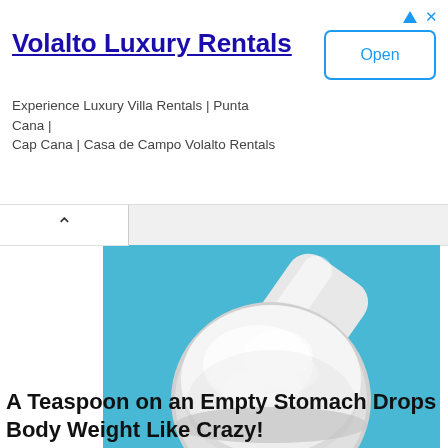[Figure (infographic): Advertisement banner for Volalto Luxury Rentals with title, description and Open button]
Volalto Luxury Rentals
Experience Luxury Villa Rentals | Punta Cana | Cap Cana | Casa de Campo Volalto Rentals
[Figure (photo): A white measuring scoop filled with white powder on a bright blue background, with scattered powder around it]
A Teaspoon on an Empty Stomach Drops Body Weight Like Crazy!